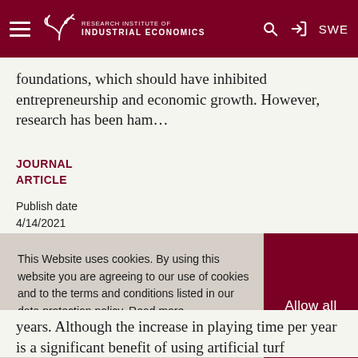Research Institute of Industrial Economics — SWE
foundations, which should have inhibited entrepreneurship and economic growth. However, research has been ham…
JOURNAL ARTICLE
Publish date
4/14/2021
This Website uses cookies. By using this website you are agreeing to our use of cookies and to the terms and conditions listed in our data protection policy. Read more
Allow all
years. Although the increase in playing time per year is a significant benefit of using artificial turf